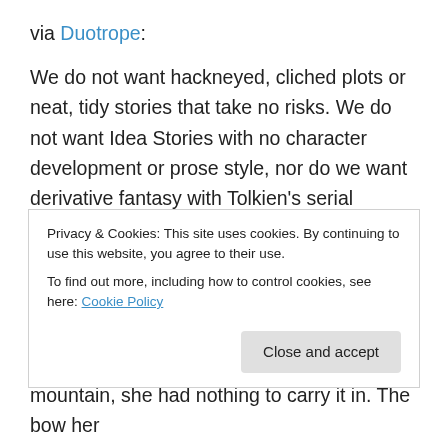via Duotrope:
We do not want hackneyed, cliched plots or neat, tidy stories that take no risks. We do not want Idea Stories with no character development or prose style, nor do we want derivative fantasy with Tolkien's serial numbers filed off. What we want is sheer, unvarnished awesomeness. We want the stories it scared you to write. We want stories full of marrow and passion, stories that are twisted, strange, and beautiful. We want science fiction, fantasy, horror, and mash-ups of all three—the dark, weird stuff down at the
Privacy & Cookies: This site uses cookies. By continuing to use this website, you agree to their use.
To find out more, including how to control cookies, see here: Cookie Policy
Close and accept
mountain, she had nothing to carry it in. The bow her